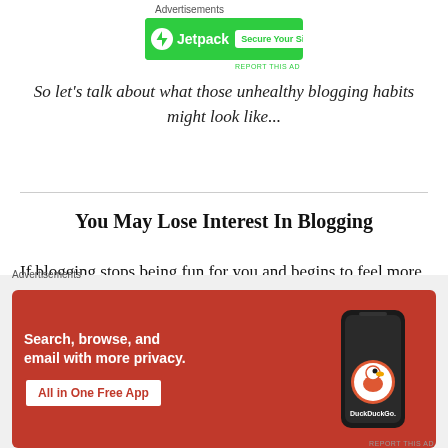[Figure (other): Jetpack advertisement banner with green background, Jetpack logo on left and 'Secure Your Site' button on right]
So let's talk about what those unhealthy blogging habits might look like...
You May Lose Interest In Blogging
If blogging stops being fun for you and begins to feel more like a job, then this could be a sign that you
[Figure (other): DuckDuckGo advertisement banner with orange/red background featuring text 'Search, browse, and email with more privacy. All in One Free App' and phone graphic with DuckDuckGo logo]